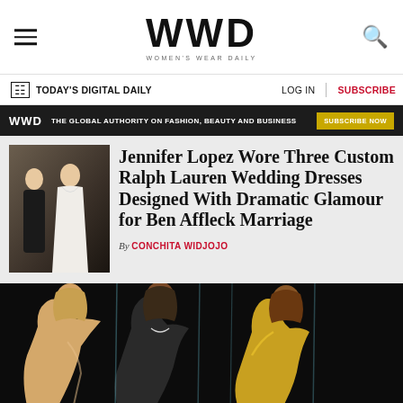WWD — WOMEN'S WEAR DAILY
TODAY'S DIGITAL DAILY   LOG IN   SUBSCRIBE
WWD  THE GLOBAL AUTHORITY ON FASHION, BEAUTY AND BUSINESS  SUBSCRIBE NOW
Jennifer Lopez Wore Three Custom Ralph Lauren Wedding Dresses Designed With Dramatic Glamour for Ben Affleck Marriage
By CONCHITA WIDJOJO
[Figure (photo): Three women in formal gowns against dark background]